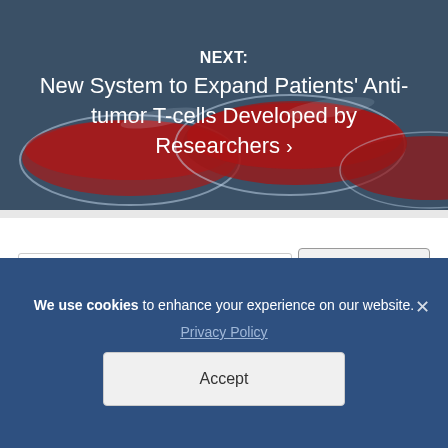[Figure (photo): Laboratory petri dishes with red liquid/cell culture media on a blue-grey background, shown at an angle]
NEXT:
New System to Expand Patients' Anti-tumor T-cells Developed by Researchers ›
[Figure (screenshot): Search bar with text input field and Search button]
We use cookies to enhance your experience on our website.
Privacy Policy
Accept